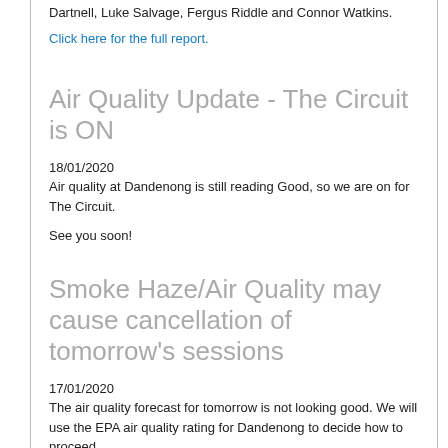Dartnell, Luke Salvage, Fergus Riddle and Connor Watkins.
Click here for the full report.
Air Quality Update - The Circuit is ON
18/01/2020
Air quality at Dandenong is still reading Good, so we are on for The Circuit.
See you soon!
Smoke Haze/Air Quality may cause cancellation of tomorrow's sessions
17/01/2020
The air quality forecast for tomorrow is not looking good. We will use the EPA air quality rating for Dandenong to decide how to proceed.
If the rating is Moderate, we will continue but will not hold